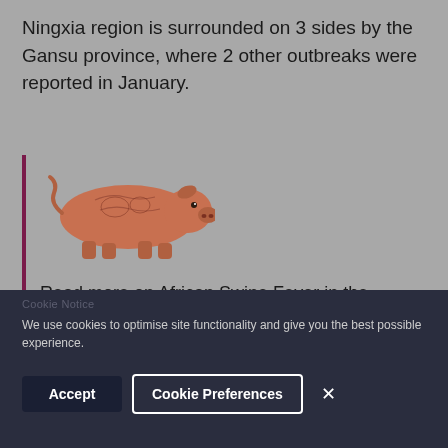Ningxia region is surrounded on 3 sides by the Gansu province, where 2 other outbreaks were reported in January.
[Figure (illustration): Anatomical illustration of a pig showing internal organs/musculature, side view, in reddish-brown tones.]
Read more on African Swine Fever in the Health Tool
We use cookies to optimise site functionality and give you the best possible experience.